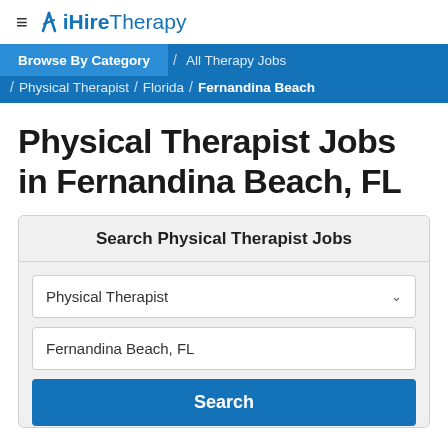≡ ✕ iHireTherapy
Browse By Category / All Therapy Jobs / Physical Therapist / Florida / Fernandina Beach
Physical Therapist Jobs in Fernandina Beach, FL
Search Physical Therapist Jobs
Physical Therapist [dropdown]
Fernandina Beach, FL [input]
Search [button]